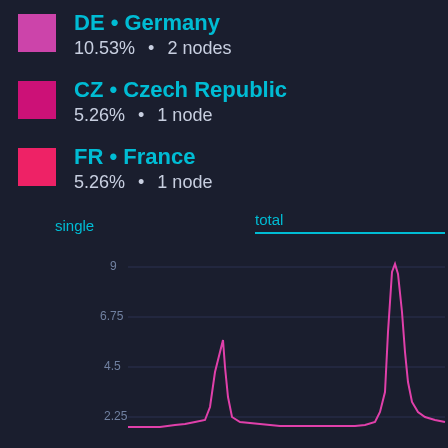DE • Germany
10.53% • 2 nodes
CZ • Czech Republic
5.26% • 1 node
FR • France
5.26% • 1 node
[Figure (line-chart): Line chart with y-axis labels 9, 6.75, 4.5, 2.25 showing spikes in node count over time. A magenta/pink line shows activity spikes around the middle and toward the right side of the chart.]